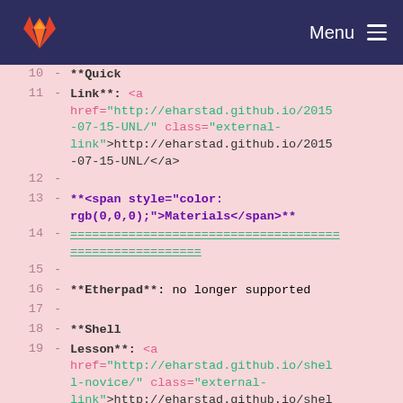[Figure (screenshot): GitLab navigation bar with fox logo and Menu icon on dark navy background]
10  - **Quick
11  - Link**: <a href="http://eharstad.github.io/2015-07-15-UNL/" class="external-link">http://eharstad.github.io/2015-07-15-UNL/</a>
12  -
13  - **<span style="color: rgb(0,0,0);">Materials</span>**
14  - =====================================
15  -
16  - **Etherpad**: no longer supported
17  -
18  - **Shell
19  - Lesson**: <a href="http://eharstad.github.io/shell-novice/" class="external-link">http://eharstad.github.io/shell-novice/</a>